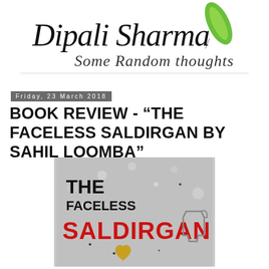[Figure (logo): Dipali Sharma - Some Random Thoughts blog logo with cursive script text and green feather/leaf icon]
Friday, 23 March 2018
BOOK REVIEW - “THE FACELESS SALDIRGAN BY SAHIL LOOMBA”
[Figure (photo): Book cover of 'The Faceless Saldirgan' showing text THE FACELESS in black, SALDIRGAN in large red letters, on a grey textured background with a golden heart and a gun visible]